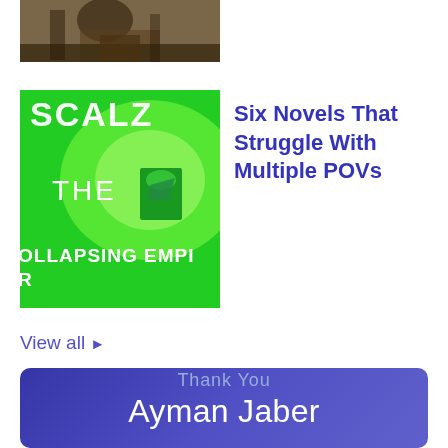[Figure (photo): Top cropped photo of a person digging or doing outdoor work, dark earthy tones]
[Figure (photo): Book cover for 'The Collapsing Empire' by Scalzi on a bright green background with bold white text]
Six Novels That Struggle With Multiple POVs
View all ▶
[Figure (infographic): Purple/blue gradient thank you banner showing 'Thank You' and 'Ayman Jaber' with partial text below]